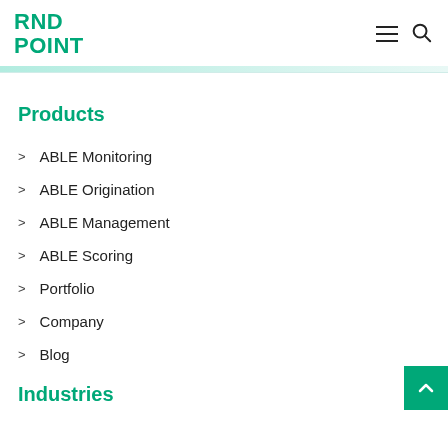RND POINT
Products
ABLE Monitoring
ABLE Origination
ABLE Management
ABLE Scoring
Portfolio
Company
Blog
Industries